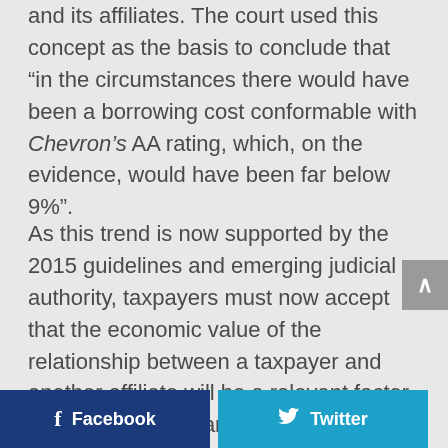and its affiliates. The court used this concept as the basis to conclude that “in the circumstances there would have been a borrowing cost conformable with Chevron’s AA rating, which, on the evidence, would have been far below 9%”.
As this trend is now supported by the 2015 guidelines and emerging judicial authority, taxpayers must now accept that the economic value of the relationship between a taxpayer and another affiliate will be a relevant factor in determining an arm’s length price.